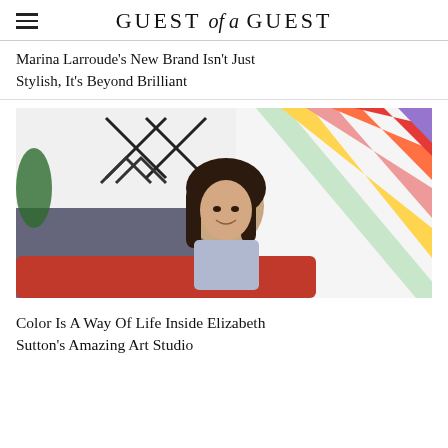GUEST of a GUEST
Marina Larroude's New Brand Isn't Just Stylish, It's Beyond Brilliant
[Figure (photo): A smiling woman with dark wavy hair sitting on a red couch in front of a colorful rainbow diagonal stripe wall and geometric black and white artwork. She is wearing a light lavender sleeveless top with a dark navy detail.]
Color Is A Way Of Life Inside Elizabeth Sutton's Amazing Art Studio